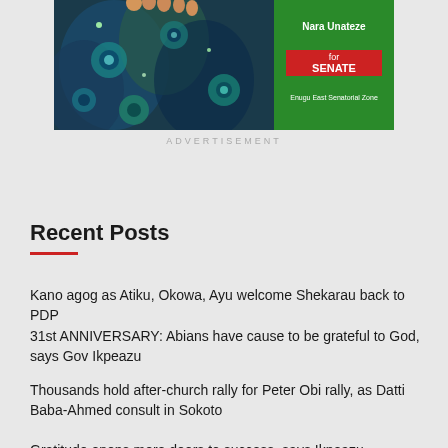[Figure (illustration): Political advertisement banner for Nara Unateze for Senate, Enugu East Senatorial Zone. Left side shows peacock feather pattern image. Right side has green background with white text 'Nara Unateze', red button with 'for SENATE', and small text 'Enugu East Senatorial Zone'.]
ADVERTISEMENT
Recent Posts
Kano agog as Atiku, Okowa, Ayu welcome Shekarau back to PDP
31st ANNIVERSARY: Abians have cause to be grateful to God, says Gov Ikpeazu
Thousands hold after-church rally for Peter Obi rally, as Datti Baba-Ahmed consult in Sokoto
Gratitude opens more doors to success, says Ikpeazu
10 Choose for the Grandmasters of Data!!! – Toni Kan